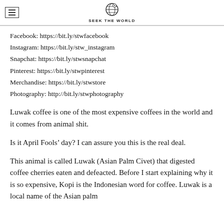SEEK THE WORLD
Facebook: https://bit.ly/stwfacebook
Instagram: https://bit.ly/stw_instagram
Snapchat: https://bit.ly/stwsnapchat
Pinterest: https://bit.ly/stwpinterest
Merchandise: https://bit.ly/stwstore
Photography: http://bit.ly/stwphotography
Luwak coffee is one of the most expensive coffees in the world and it comes from animal shit.
Is it April Fools’ day? I can assure you this is the real deal.
This animal is called Luwak (Asian Palm Civet) that digested coffee cherries eaten and defeacted. Before I start explaining why it is so expensive, Kopi is the Indonesian word for coffee. Luwak is a local name of the Asian palm